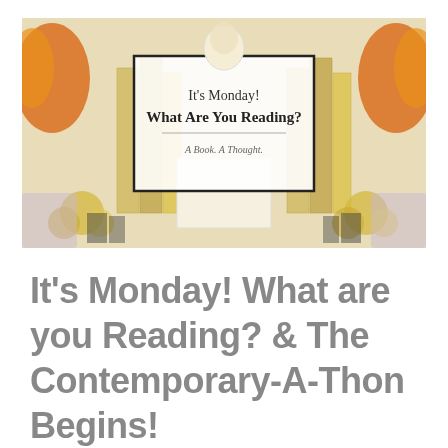[Figure (illustration): Blog header image showing books arranged on a white surface with gold/yellow decorative flowers and orange leaf decorations. A centered white text box with black border contains the text 'It's Monday! What Are You Reading?' and subtitle 'A Book. A Thought.']
It's Monday! What are you Reading? & The Contemporary-A-Thon Begins! ⭐